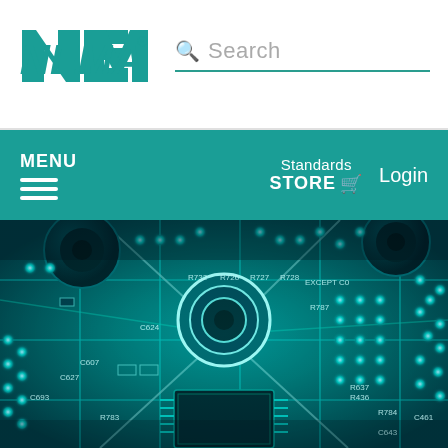[Figure (logo): NEMA logo in teal/blue italic block letters]
Search
MENU | Standards STORE | Login
[Figure (photo): Close-up macro photograph of a cyan/teal-tinted electronic circuit board with component labels like R784, C461, C643, R637, R436, R787, R728, R727, R732, C624, C607, C627, C693, R783, and a large circular component in the center, with a microchip at the bottom]